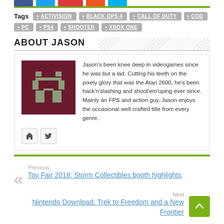Tags: ACTIVISION • BLACK OPS 4 • CALL OF DUTY • COD • PC • PS4 • SHOOTER • XBOX ONE
ABOUT JASON
[Figure (illustration): Dark red/maroon square avatar with a pixel-art robot/character icon in grey]
Jason's been knee deep in videogames since he was but a lad. Cutting his teeth on the pixely glory that was the Atari 2600, he's been hack'n'slashing and shoot'em'uping ever since. Mainly an FPS and action guy, Jason enjoys the occasional well crafted title from every genre.
Previous
Toy Fair 2018: Storm Collectibles booth highlights
Next
Nintendo Download: Trek to Freedom and a New Frontier